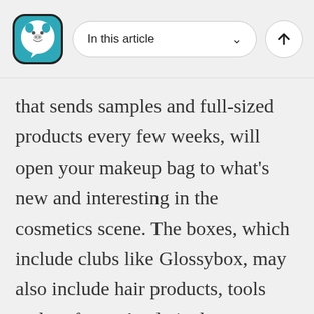In this article
that sends samples and full-sized products every few weeks, will open your makeup bag to what’s new and interesting in the cosmetics scene. The boxes, which include clubs like Glossybox, may also include hair products, tools and perfume. A relatively new concept, some beauty box subscription services are so popular they carry a waiting list. Besides the thrill of opening a pretty box filled with tissue paper and tiny mysteries, why should you join?